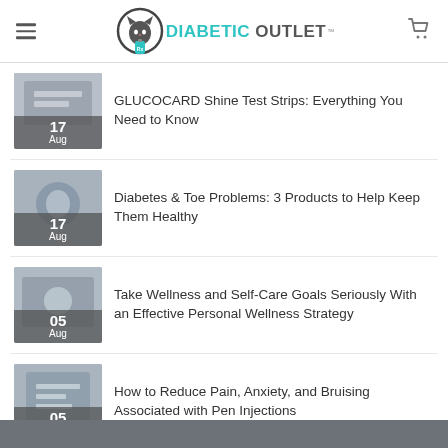DIABETIC OUTLET
17 Aug — GLUCOCARD Shine Test Strips: Everything You Need to Know
17 Aug — Diabetes & Toe Problems: 3 Products to Help Keep Them Healthy
05 Aug — Take Wellness and Self-Care Goals Seriously With an Effective Personal Wellness Strategy
05 Aug — How to Reduce Pain, Anxiety, and Bruising Associated with Pen Injections